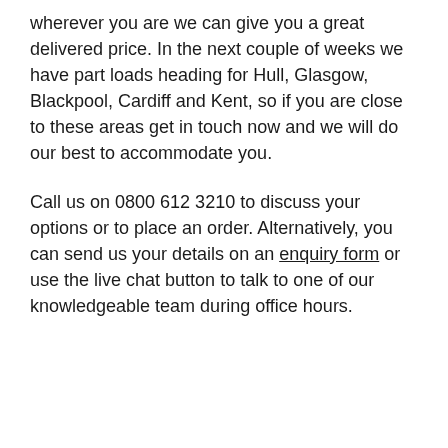wherever you are we can give you a great delivered price. In the next couple of weeks we have part loads heading for Hull, Glasgow, Blackpool, Cardiff and Kent, so if you are close to these areas get in touch now and we will do our best to accommodate you.
Call us on 0800 612 3210 to discuss your options or to place an order. Alternatively, you can send us your details on an enquiry form or use the live chat button to talk to one of our knowledgeable team during office hours.